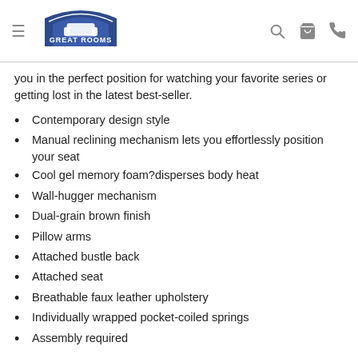Great Rooms Furniture & Mattresses
you in the perfect position for watching your favorite series or getting lost in the latest best-seller.
Contemporary design style
Manual reclining mechanism lets you effortlessly position your seat
Cool gel memory foam?disperses body heat
Wall-hugger mechanism
Dual-grain brown finish
Pillow arms
Attached bustle back
Attached seat
Breathable faux leather upholstery
Individually wrapped pocket-coiled springs
Assembly required